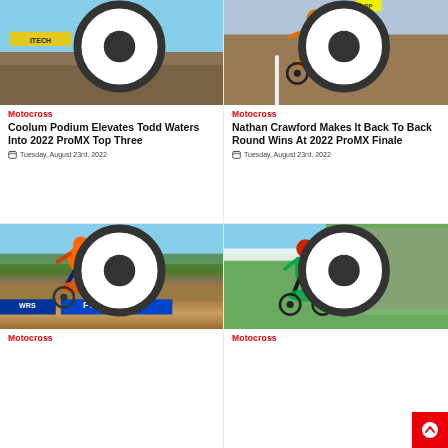[Figure (photo): Motocross rider on blue dirt bike airborne against blue sky and dirt hill]
[Figure (photo): Motocross rider in orange gear riding on dirt track]
Motocross
Coolum Podium Elevates Todd Waters Into 2022 ProMX Top Three
Tuesday, August 23rd, 2022
Motocross
Nathan Crawford Makes It Back To Back Round Wins At 2022 ProMX Finale
Tuesday, August 23rd, 2022
[Figure (photo): Motocross rider on red/orange KTM bike airborne with FLY Racing banner and crowd in background]
[Figure (photo): Motocross rider on green Kawasaki bike with large crowd on hillside in background]
Motocross
Motocross